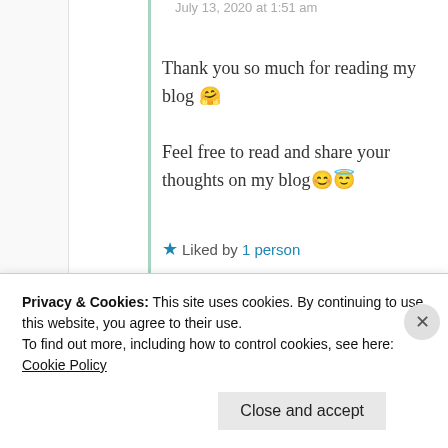July 13, 2020 at 1:51 am
Thank you so much for reading my blog 🤗
Feel free to read and share your thoughts on my blog😊😇
★ Liked by 1 person
↪ Reply
Privacy & Cookies: This site uses cookies. By continuing to use this website, you agree to their use.
To find out more, including how to control cookies, see here: Cookie Policy
Close and accept